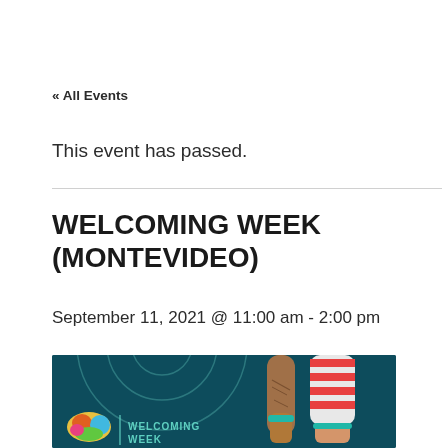« All Events
This event has passed.
WELCOMING WEEK (MONTEVIDEO)
September 11, 2021 @ 11:00 am - 2:00 pm
[Figure (illustration): Welcoming Week event banner with teal background, illustrated arms/hands raised, a colorful USA map logo, and 'WELCOMING WEEK' text in teal.]